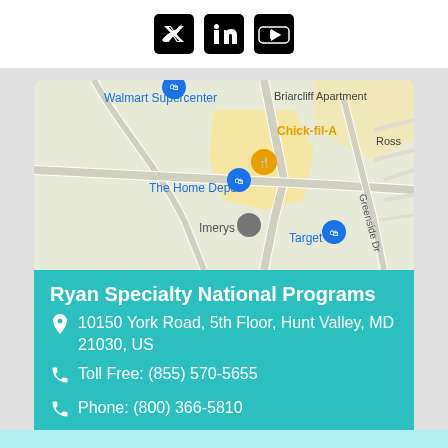[Figure (illustration): Social media icons (Twitter, LinkedIn, YouTube) centered on white bar at top]
[Figure (map): Google Maps screenshot showing area near Hunt Valley, MD with landmarks: Walmart Supercenter, The Home Depot, Imerys, Chick-fil-A, Target, Briarcliff Apartment, Ross, Greenside Dr]
Ryan Specialty National Programs
10150 York Road, 5th Floor, Hunt Valley, MD 21030, US
Toll Free: (855) 570-5655
Phone: (800) 366-5810
Industry : Insurance